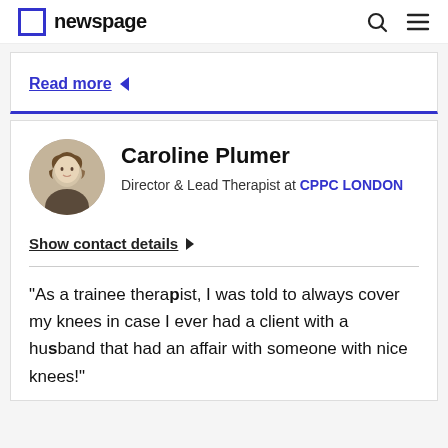newspage
Read more
Caroline Plumer
Director & Lead Therapist at CPPC LONDON
Show contact details
"As a trainee therapist, I was told to always cover my knees in case I ever had a client with a husband that had an affair with someone with nice knees!"